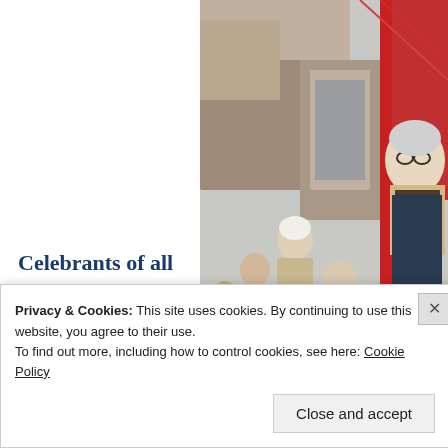[Figure (photo): Outdoor crowd scene with people of various ages walking, including an elderly man with glasses wearing a plaid/striped Burberry scarf, a child in a green jacket, a person in a beige coat with a white hat, and a blue cartoon character costume in the foreground. Buildings and red decorations visible in background.]
Celebrants of all plaids and stripes.
Privacy & Cookies: This site uses cookies. By continuing to use this website, you agree to their use.
To find out more, including how to control cookies, see here: Cookie Policy